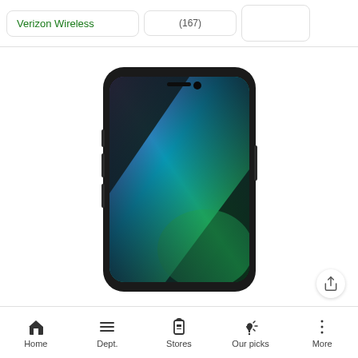Verizon Wireless
(167)
[Figure (photo): Apple iPhone 13 in Green color shown from the front, with a colorful wallpaper displaying purple, teal, and green gradients on a dark background]
Apple iPhone 13 - 128GB - Green - AT&T
Home  Dept.  Stores  Our picks  More